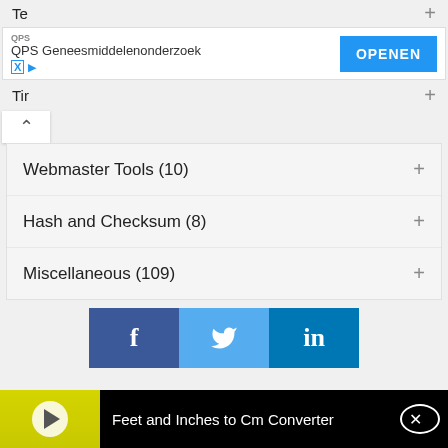Te
[Figure (screenshot): Advertisement banner: QPS Geneesmiddelenonderzoek with OPENEN button]
Tir
Webmaster Tools (10) +
Hash and Checksum (8) +
Miscellaneous (109) +
[Figure (infographic): Social share buttons: Facebook (f), Twitter (bird), LinkedIn (in)]
Link to This Tool +
Recommend This Tool
Premium Version
[Figure (screenshot): Video bar at bottom: Feet and Inches to Cm Converter with play button and close button]